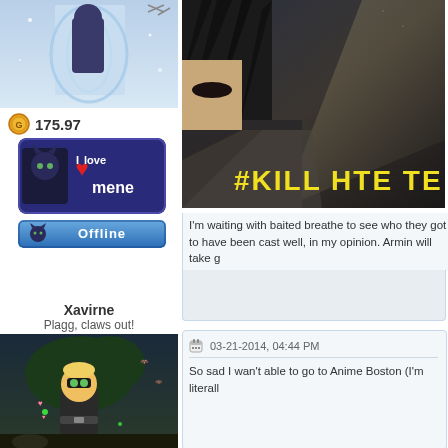[Figure (illustration): Top user avatar — fantasy water/ice themed character]
175.97
[Figure (illustration): I love mene badge with black cat graphic]
[Figure (illustration): Offline status button with small cat icon]
[Figure (illustration): Anime screenshot — dark-haired character with yellow text overlay reading #KILL HTE TE...]
I'm waiting with baited breathe to see who they got to have been cast well, in my opinion. Armin will take g
Xavirne
Plagg, claws out!
[Figure (illustration): User avatar — blonde character in black cat/hero costume with tree background]
03-21-2014, 04:44 PM
So sad I wan't able to go to Anime Boston (I'm literall